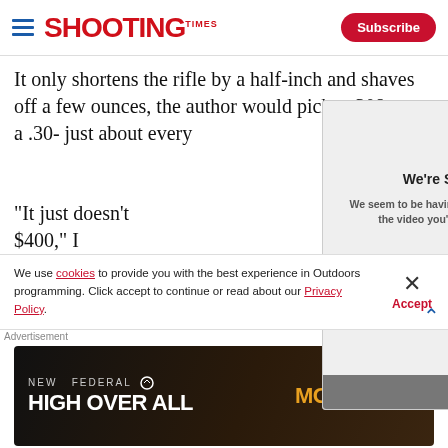SHOOTING TIMES — Subscribe
It only shortens the rifle by a half-inch and shaves off a few ounces, the author would pick a .308 over a .30- just about every
"It just doesn't $400," I remem shooting and hu same.
[Figure (screenshot): Video error overlay popup with close button (x), heading 'We're Sorry.' and message 'We seem to be having a problem with the video you've selected.' with dark bottom bar.]
During several range sessions, I fired over 150 rounds
We use cookies to provide you with the best experience in Outdoors programming. Click accept to continue or read about our Privacy Policy.
Advertisement
[Figure (photo): Federal High Overall ammunition advertisement banner with 'NEW FEDERAL HIGH OVER ALL' text and 'MORE WINS' on dark background.]